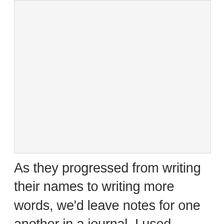[Figure (photo): A blank/white image placeholder area at the top of the page]
As they progressed from writing their names to writing more words, we'd leave notes for one another in a journal. I used printable ones and